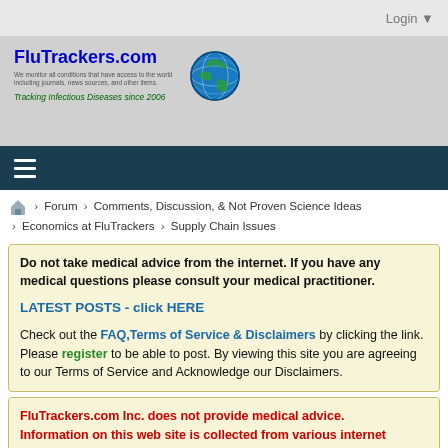Login ▼
[Figure (logo): FluTrackers.com logo with globe icon and tagline 'Tracking Infectious Diseases since 2006']
≡ (hamburger navigation menu)
🏠 > Forum > Comments, Discussion, & Not Proven Science Ideas > Economics at FluTrackers > Supply Chain Issues
Do not take medical advice from the internet. If you have any medical questions please consult your medical practitioner. LATEST POSTS - click HERE. Check out the FAQ, Terms of Service & Disclaimers by clicking the link. Please register to be able to post. By viewing this site you are agreeing to our Terms of Service and Acknowledge our Disclaimers.
FluTrackers.com Inc. does not provide medical advice. Information on this web site is collected from various internet